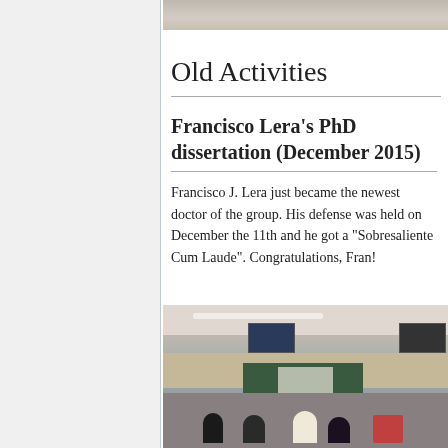[Figure (photo): Top portion of a lecture hall / conference room photo, cropped at top of page]
Old Activities
Francisco Lera's PhD dissertation (December 2015)
Francisco J. Lera just became the newest doctor of the group. His defense was held on December the 11th and he got a "Sobresaliente Cum Laude". Congratulations, Fran!
[Figure (photo): Photograph of a lecture hall during a PhD dissertation defense, showing audience seated at desks, a panel of examiners at the front, a green chalkboard, projection screen, and hanging display monitors.]